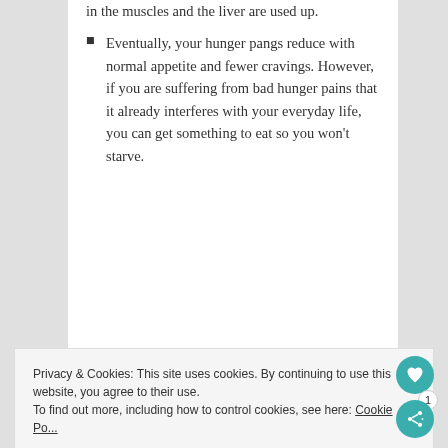in the muscles and the liver are used up.
Eventually, your hunger pangs reduce with normal appetite and fewer cravings. However, if you are suffering from bad hunger pains that it already interferes with your everyday life, you can get something to eat so you won't starve.
Privacy & Cookies: This site uses cookies. By continuing to use this website, you agree to their use. To find out more, including how to control cookies, see here: Cookie Po...
Close and acc